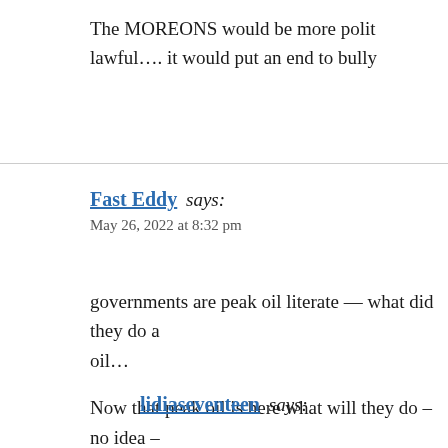The MOREONS would be more polit lawful…. it would put an end to bully
Fast Eddy says:
May 26, 2022 at 8:32 pm
governments are peak oil literate — what did they do a oil…
Now that peak oil is here what will they do – no idea –
https://youtu.be/MskRocubx08?t=3773
UEP – this is why every country on the planet is injecti
lidiaseventeen says: